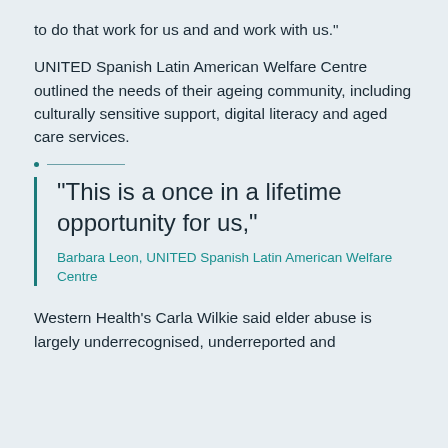to do that work for us and and work with us."
UNITED Spanish Latin American Welfare Centre outlined the needs of their ageing community, including culturally sensitive support, digital literacy and aged care services.
"This is a once in a lifetime opportunity for us,"
Barbara Leon, UNITED Spanish Latin American Welfare Centre
Western Health's Carla Wilkie said elder abuse is largely underrecognised, underreported and